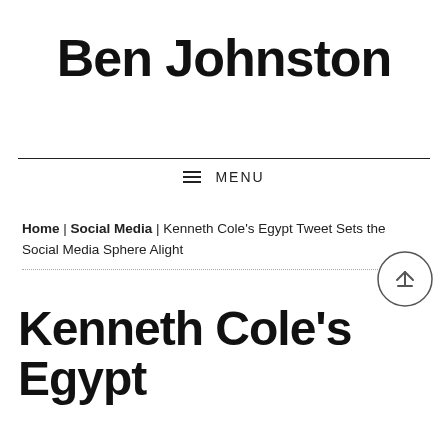Ben Johnston
≡ MENU
Home | Social Media | Kenneth Cole's Egypt Tweet Sets the Social Media Sphere Alight
Kenneth Cole's Egypt